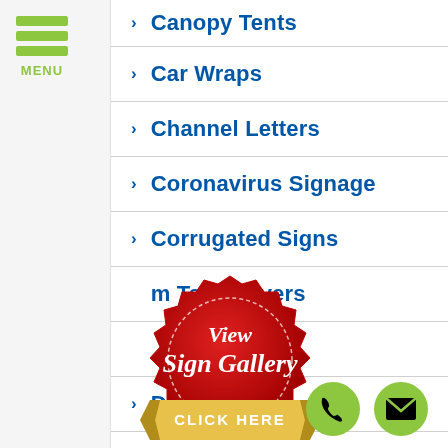Canopy Tents
Car Wraps
Channel Letters
Coronavirus Signage
Corrugated Signs
m Tablecovers
Decals
Dibond Signs
[Figure (illustration): Red badge/seal with white script text 'View Sign Gallery' and a gold ribbon banner at bottom reading 'CLICK HERE']